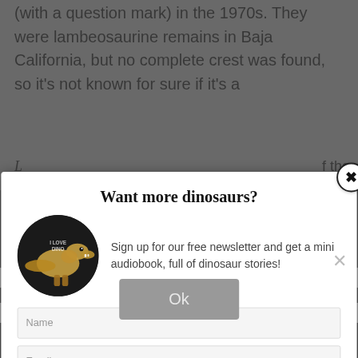(with a question mark) in the 1970s. They were lambeosaurine remains in Baja California, but no complete crest was found, so it's not known for sure if it's a
[Figure (screenshot): Modal popup dialog with title 'Want more dinosaurs?', a circular dinosaur book image, description text 'Sign up for our free newsletter and get a mini audiobook, full of dinosaur stories!', Name and Email input fields, and an orange Subscribe button. A close (X) button appears in the top-right corner of the modal.]
We use... nce on our web... hat you
subfamily of ha... with hollow crests
Closely related... aurus. Hypacrosaurus Olacetita (all very similar but